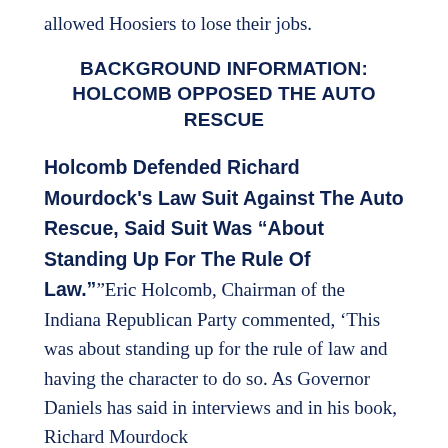allowed Hoosiers to lose their jobs.
BACKGROUND INFORMATION: HOLCOMB OPPOSED THE AUTO RESCUE
Holcomb Defended Richard Mourdock's Law Suit Against The Auto Rescue, Said Suit Was “About Standing Up For The Rule Of Law.””Eric Holcomb, Chairman of the Indiana Republican Party commented, ‘This was about standing up for the rule of law and having the character to do so. As Governor Daniels has said in interviews and in his book, Richard Mourdock